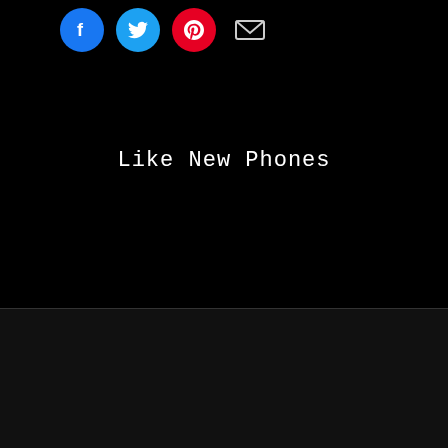[Figure (other): Social share icons: Facebook (blue circle), Twitter (blue circle), Pinterest (red circle), Email (envelope icon)]
Like New Phones
1
OUT OF STOCK
RS. 12,599.00